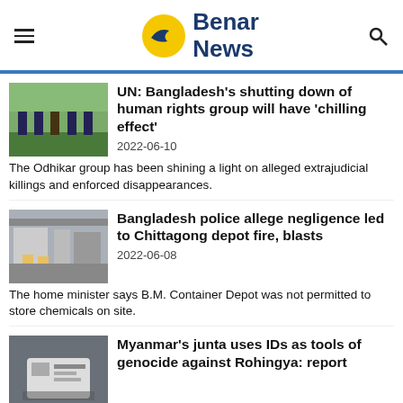Benar News
UN: Bangladesh's shutting down of human rights group will have 'chilling effect'
2022-06-10
The Odhikar group has been shining a light on alleged extrajudicial killings and enforced disappearances.
Bangladesh police allege negligence led to Chittagong depot fire, blasts
2022-06-08
The home minister says B.M. Container Depot was not permitted to store chemicals on site.
Myanmar's junta uses IDs as tools of genocide against Rohingya: report